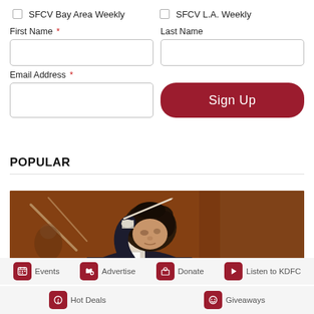☐ SFCV Bay Area Weekly   ☐ SFCV L.A. Weekly
First Name * (required)
Last Name
Email Address * (required)
Sign Up (button)
POPULAR
[Figure (photo): Conductor with curly hair holding a baton, performing on stage against a warm brown background]
Events | Advertise | Donate | Listen to KDFC | Hot Deals | Giveaways